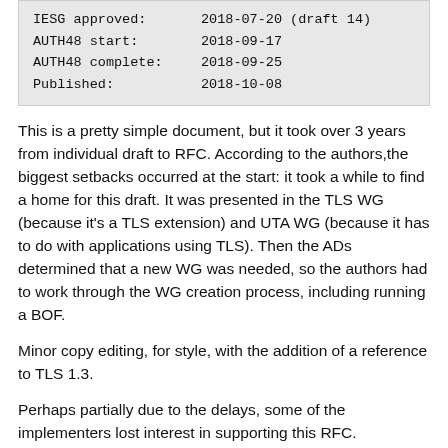| IESG approved: | 2018-07-20 (draft 14) |
| AUTH48 start: | 2018-09-17 |
| AUTH48 complete: | 2018-09-25 |
| Published: | 2018-10-08 |
This is a pretty simple document, but it took over 3 years from individual draft to RFC. According to the authors,the biggest setbacks occurred at the start: it took a while to find a home for this draft. It was presented in the TLS WG (because it's a TLS extension) and UTA WG (because it has to do with applications using TLS). Then the ADs determined that a new WG was needed, so the authors had to work through the WG creation process, including running a BOF.
Minor copy editing, for style, with the addition of a reference to TLS 1.3.
Perhaps partially due to the delays, some of the implementers lost interest in supporting this RFC.